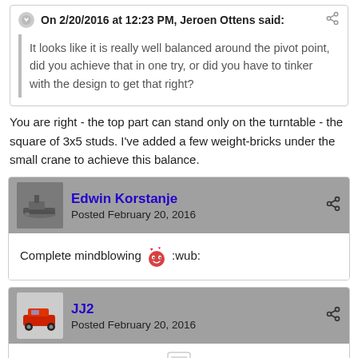On 2/20/2016 at 12:23 PM, Jeroen Ottens said:
It looks like it is really well balanced around the pivot point, did you achieve that in one try, or did you have to tinker with the design to get that right?
You are right - the top part can stand only on the turntable - the square of 3x5 studs. I've added a few weight-bricks under the small crane to achieve this balance.
Edwin Korstanje
Posted February 20, 2016
Complete mindblowing :wub:
JJ2
Posted February 20, 2016